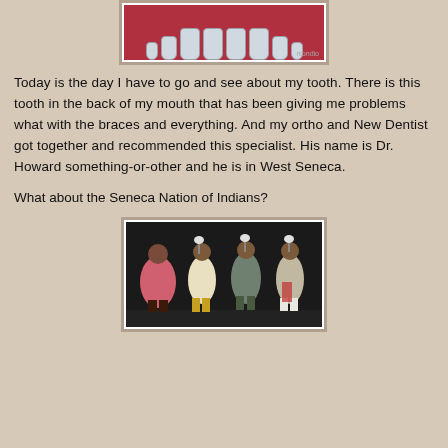[Figure (illustration): Cartoon illustration of teeth/braces on a red background, with a small watermark in the corner]
Today is the day I have to go and see about my tooth. There is this tooth in the back of my mouth that has been giving me problems what with the braces and everything. And my ortho and New Dentist got together and recommended this specialist. His name is Dr. Howard something-or-other and he is in West Seneca.
What about the Seneca Nation of Indians?
[Figure (photo): Photograph of Native American dancers in traditional regalia performing on a stage]